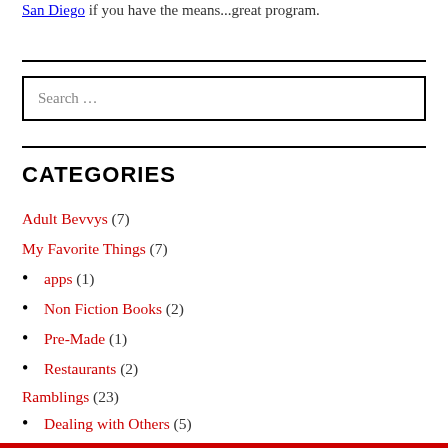San Diego if you have the means...great program.
Search ...
CATEGORIES
Adult Bevvys (7)
My Favorite Things (7)
apps (1)
Non Fiction Books (2)
Pre-Made (1)
Restaurants (2)
Ramblings (23)
Dealing with Others (5)
Get to it (8)